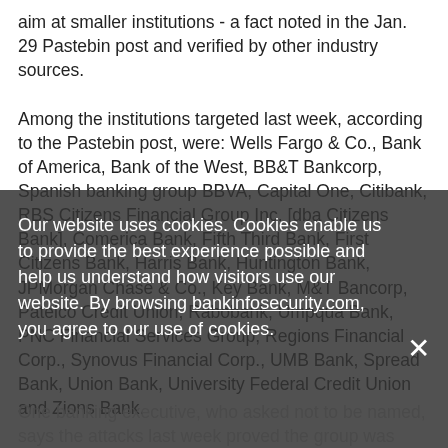aim at smaller institutions - a fact noted in the Jan. 29 Pastebin post and verified by other industry sources.
Among the institutions targeted last week, according to the Pastebin post, were: Wells Fargo & Co., Bank of America, Bank of the West, BB&T Bankcorp, Spanish banking group BBVA, Capital One, Citibank, RBS Citizens Financial Group Inc. [dba Citizens Bank], Comerica Bank, Fifth Third Bank, First Citizens Bank, Harris Bank, Huntington Bank, JPMorgan Chase & Co., Key Bank, M&T Bancorp, Patelco Credit Union, Rabobank, Umpqua Bank, PNC Financial Services Group, Regions Financial Corp., Synovus Financial Corp., UMB Bank, Spread Bank, Union Bank, University Federal Credit Union and Zions Bank.
Our website uses cookies. Cookies enable us to provide the best experience possible and help us understand how visitors use our website. By browsing bankinfosecurity.com, you agree to our use of cookies.
One banking executive, who asked not to be named, says the attacks last week proved the group was casting a wider DDoS net, proving smaller institutions need to enhance